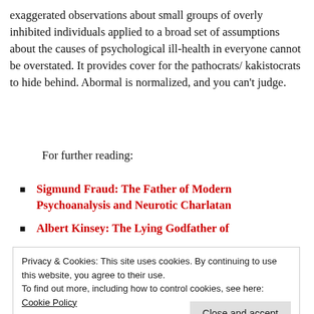exaggerated observations about small groups of overly inhibited individuals applied to a broad set of assumptions about the causes of psychological ill-health in everyone cannot be overstated. It provides cover for the pathocrats/ kakistocrats to hide behind. Abormal is normalized, and you can't judge.
For further reading:
Sigmund Fraud: The Father of Modern Psychoanalysis and Neurotic Charlatan
Albert Kinsey: The Lying Godfather of
Privacy & Cookies: This site uses cookies. By continuing to use this website, you agree to their use.
To find out more, including how to control cookies, see here: Cookie Policy
Close and accept